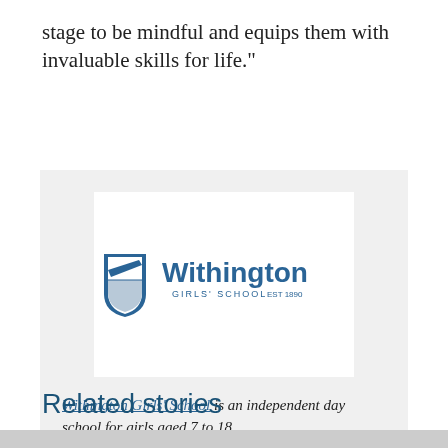stage to be mindful and equips them with invaluable skills for life."
[Figure (logo): Withington Girls' School logo — a shield emblem with diagonal stripe and school name 'Withington GIRLS' SCHOOL EST 1890']
Withington Girls' School is an independent day school for girls aged 7 to 18.
Related stories